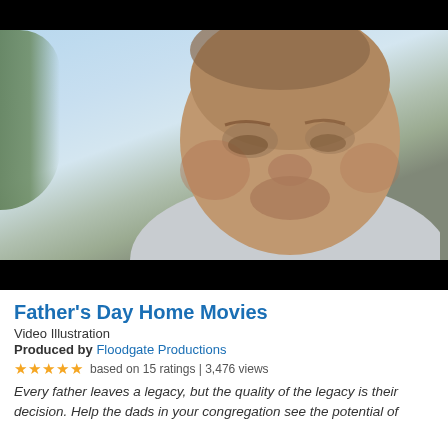[Figure (photo): Video thumbnail showing close-up of an older man's face looking downward, with a light blue sky background and dark black bars at top and bottom (letterbox style).]
Father's Day Home Movies
Video Illustration
Produced by Floodgate Productions
★★★★★ based on 15 ratings | 3,476 views
Every father leaves a legacy, but the quality of the legacy is their decision. Help the dads in your congregation see the potential of